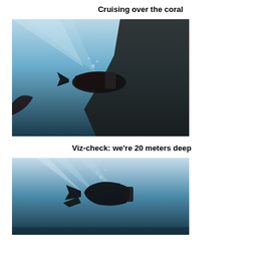Cruising over the coral
[Figure (photo): Underwater photo of a scuba diver cruising over coral reef, viewed from below, blue water with light rays, dark reef visible on the right side]
Viz-check: we're 20 meters deep
[Figure (photo): Underwater photo of a scuba diver swimming, viewed from below, blue water with light rays filtering from above]